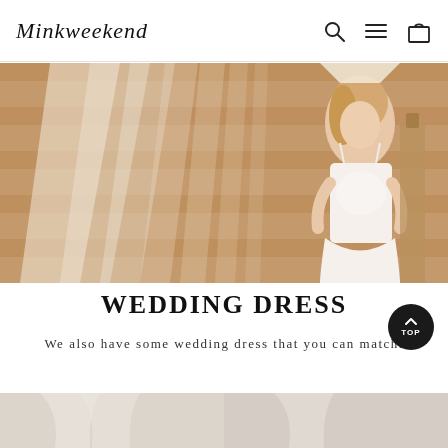Minkweekend
[Figure (photo): A bride wearing a white lace bodice wedding gown with a long flowing veil, standing in front of a rustic brick wall with ornate architectural details.]
WEDDING DRESS
We also have some wedding dress that you can match.
[Figure (photo): Bottom strip showing partial view of wedding dress products.]